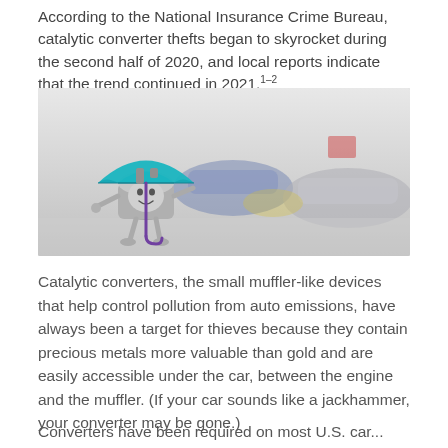According to the National Insurance Crime Bureau, catalytic converter thefts began to skyrocket during the second half of 2020, and local reports indicate that the trend continued in 2021.1–2
[Figure (illustration): A cartoon mascot character shaped like a catalytic converter holding a teal umbrella, standing in front of a blurred car dealership showroom with several cars in the background.]
Catalytic converters, the small muffler-like devices that help control pollution from auto emissions, have always been a target for thieves because they contain precious metals more valuable than gold and are easily accessible under the car, between the engine and the muffler. (If your car sounds like a jackhammer, your converter may be gone.)
Converters have been required on most U.S. car...